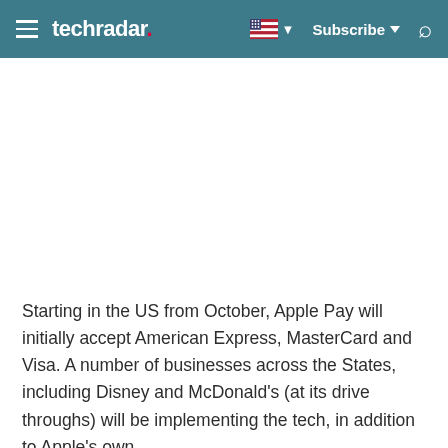techradar — Subscribe
[Figure (other): Advertisement or image placeholder area (white/blank)]
Starting in the US from October, Apple Pay will initially accept American Express, MasterCard and Visa. A number of businesses across the States, including Disney and McDonald's (at its drive throughs) will be implementing the tech, in addition to Apple's own